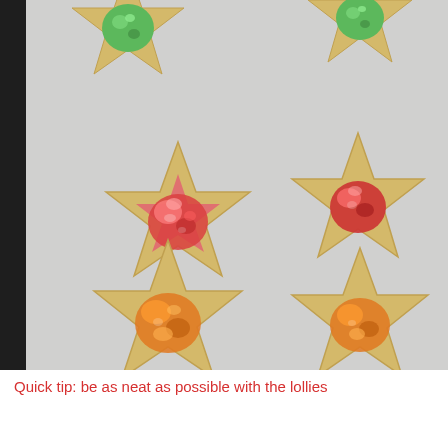[Figure (photo): Star-shaped cookies with coloured candy/lolly centers on baking parchment paper. Six star-shaped shortbread cookies are visible arranged on grey parchment. Two have green candy, two have red/pink candy, and two have orange candy in their centers. A dark edge is visible on the left side of the baking tray.]
Quick tip: be as neat as possible with the lollies